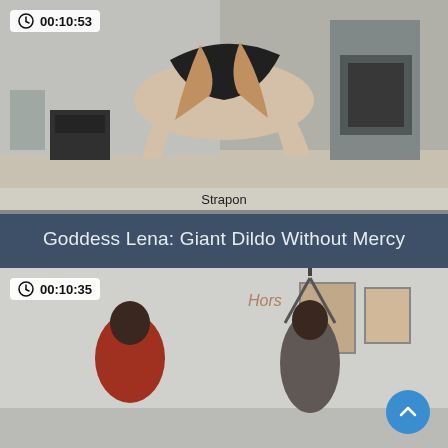[Figure (screenshot): Video thumbnail showing two people in a room with a fireplace and furniture, with a clock icon and duration badge showing 00:10:53 in top left corner, and a 'Strapon' tag bar at the bottom]
Goddess Lena: Giant Dildo Without Mercy
[Figure (screenshot): Video thumbnail showing two people in a room with artwork on walls, with a clock icon and duration badge showing 00:10:35 in top left corner, and a scroll-up button in the bottom right]